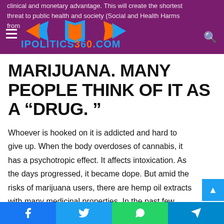IPOLITICS360.COM — website header with logo and hamburger menu
clinical and monetary advantage. This will create the shortest threat to public health and society (Social and Health Harms from...
MARIJUANA. MANY PEOPLE THINK OF IT AS A “DRUG. ”
Whoever is hooked on it is addicted and hard to give up. When the body overdoses of cannabis, it has a psychotropic effect. It affects intoxication. As the days progressed, it became dope. But amid the risks of marijuana users, there are hemp oil extracts with many medicinal properties. In the past few years, there has been a fashion. “Cannabis Fever” worldwide as people’s attitudes, values, beliefs, and ideals about hashish have changed. In unique, it’s far used to relieve ache from cancer chemotherapy.